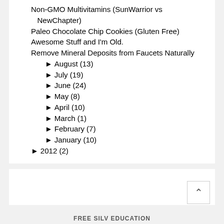Non-GMO Multivitamins (SunWarrior vs NewChapter)
Paleo Chocolate Chip Cookies (Gluten Free)
Awesome Stuff and I'm Old.
Remove Mineral Deposits from Faucets Naturally
► August (13)
► July (19)
► June (24)
► May (8)
► April (10)
► March (1)
► February (7)
► January (10)
► 2012 (2)
FREE SILV EDUCATION